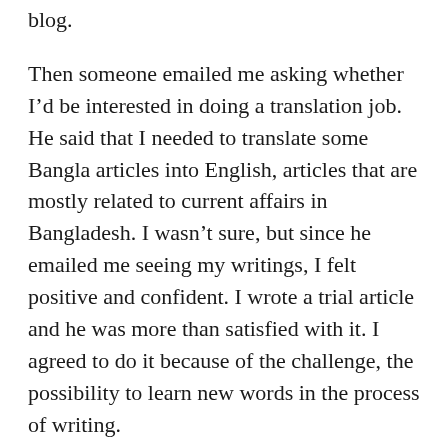blog.
Then someone emailed me asking whether I'd be interested in doing a translation job. He said that I needed to translate some Bangla articles into English, articles that are mostly related to current affairs in Bangladesh. I wasn't sure, but since he emailed me seeing my writings, I felt positive and confident. I wrote a trial article and he was more than satisfied with it. I agreed to do it because of the challenge, the possibility to learn new words in the process of writing.
I delivered by first batch of translation work a few days ago and in a response received today, the client said that there were some sentences, about five or six of them, that didn't quite reflect their Bangla